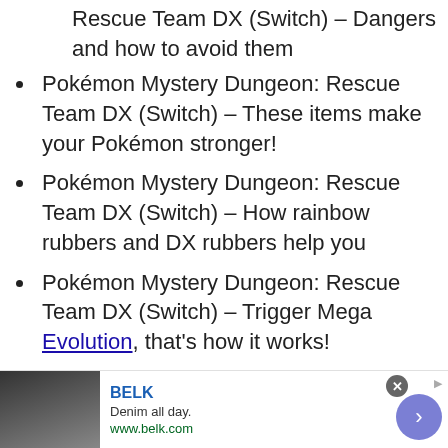Rescue Team DX (Switch) – Dangers and how to avoid them
Pokémon Mystery Dungeon: Rescue Team DX (Switch) – These items make your Pokémon stronger!
Pokémon Mystery Dungeon: Rescue Team DX (Switch) – How rainbow rubbers and DX rubbers help you
Pokémon Mystery Dungeon: Rescue Team DX (Switch) – Trigger Mega Evolution, that's how it works!
[Figure (other): Advertisement banner for BELK: Denim all day. www.belk.com, with a photo of people in denim, a close button, and a navigation arrow.]